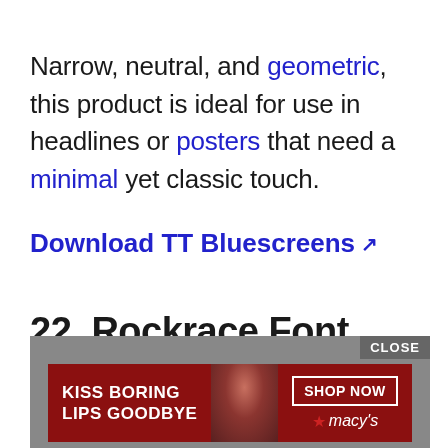Narrow, neutral, and geometric, this product is ideal for use in headlines or posters that need a minimal yet classic touch.
Download TT Bluescreens ↗
22. Rockrace Font Family
[Figure (other): A Macy's advertisement banner with 'KISS BORING LIPS GOODBYE' text on the left, a model photo in the center, and 'SHOP NOW' button with Macy's star logo on the right. A 'CLOSE' button appears in the top right of the ad container.]